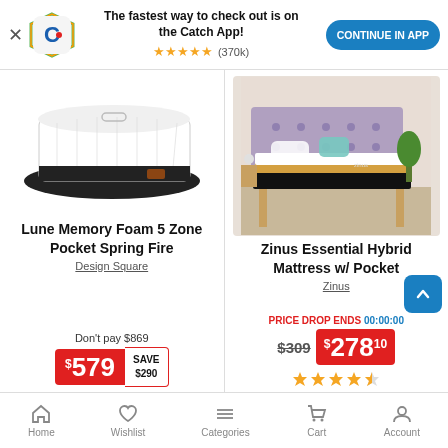[Figure (screenshot): Catch app promotional banner with logo, star rating (370k reviews), and Continue in App button]
[Figure (photo): Lune Memory Foam 5 Zone Pocket Spring Fire mattress product image on white background]
Lune Memory Foam 5 Zone Pocket Spring Fire
Design Square
Don't pay $869
$579 SAVE $290
[Figure (photo): Zinus Essential Hybrid Mattress on a wooden bed frame in a styled bedroom setting]
Zinus Essential Hybrid Mattress w/ Pocket
Zinus
PRICE DROP ENDS 00:00:00
$309 $278.10
[Figure (other): Partial star rating row at bottom of right product card]
Home  Wishlist  Categories  Cart  Account